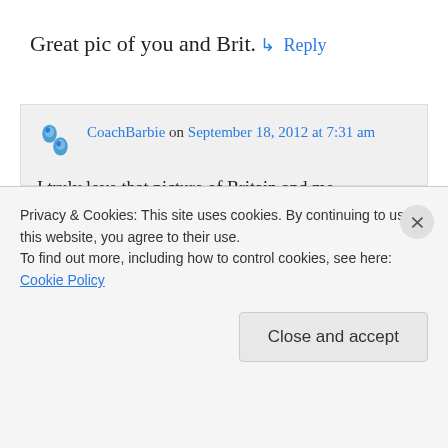Great pic of you and Brit.
↳ Reply
CoachBarbie on September 18, 2012 at 7:31 am
I truly love that picture of Britain and me … because is WAS NOT posed. I set the camera on a table and rushed over to stand by him before the shutter clicked. I always
Privacy & Cookies: This site uses cookies. By continuing to use this website, you agree to their use.
To find out more, including how to control cookies, see here: Cookie Policy
Close and accept